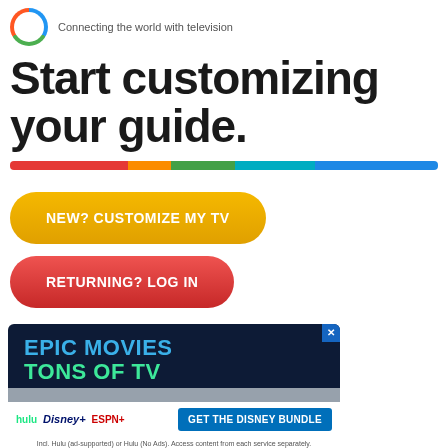Connecting the world with television
Start customizing your guide.
[Figure (other): Multicolor horizontal bar divider: red, orange, green, teal, blue segments]
NEW? CUSTOMIZE MY TV
RETURNING? LOG IN
[Figure (other): Advertisement banner for Disney Bundle showing 'EPIC MOVIES TONS OF TV' with Hulu, Disney+, ESPN+ logos and 'GET THE DISNEY BUNDLE' CTA button. Fine print: Incl. Hulu (ad-supported) or Hulu (No Ads). Access content from each service separately. ©2021 Disney and its related entities.]